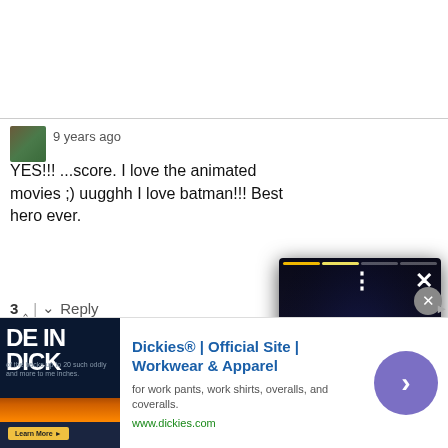9 years ago
YES!!! ...score. I love the animated movies ;) uugghh I love batman!!! Best hero ever.
3 ^ | v Reply
p-dawg
9 years ago
this should be th... (introduces Flas... validates a reaso... universe)...
7 ^ | v Reply
[Figure (screenshot): Popup overlay showing a Batgirl character in a blue superhero costume with a dark background. Progress bar at top, X close button and three-dot menu, and an orange arrow button at bottom right.]
josuea
7 years a...
[Figure (screenshot): Advertisement banner for Dickies workwear showing text 'Dickies® | Official Site | Workwear & Apparel' with subtitle 'for work pants, work shirts, overalls, and coveralls.' and URL www.dickies.com, with a purple arrow button and small ad image.]